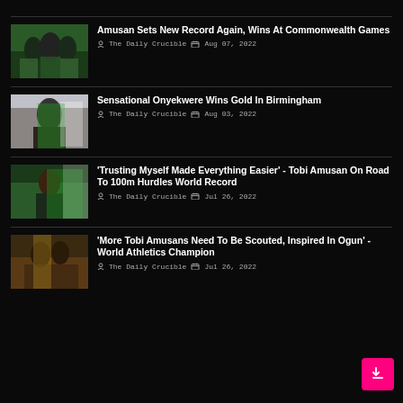Amusan Sets New Record Again, Wins At Commonwealth Games | The Daily Crucible | Aug 07, 2022
Sensational Onyekwere Wins Gold In Birmingham | The Daily Crucible | Aug 03, 2022
'Trusting Myself Made Everything Easier' - Tobi Amusan On Road To 100m Hurdles World Record | The Daily Crucible | Jul 26, 2022
'More Tobi Amusans Need To Be Scouted, Inspired In Ogun' - World Athletics Champion | The Daily Crucible | Jul 26, 2022